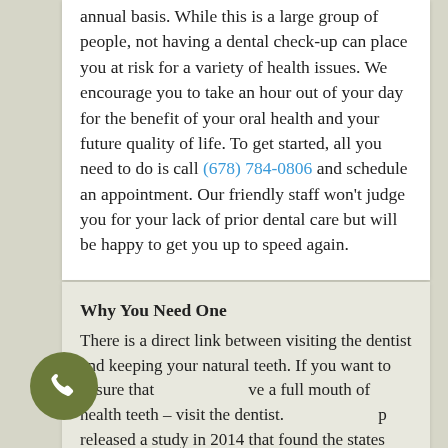annual basis. While this is a large group of people, not having a dental check-up can place you at risk for a variety of health issues. We encourage you to take an hour out of your day for the benefit of your oral health and your future quality of life. To get started, all you need to do is call (678) 784-0806 and schedule an appointment. Our friendly staff won't judge you for your lack of prior dental care but will be happy to get you up to speed again.
Why You Need One
There is a direct link between visiting the dentist and keeping your natural teeth. If you want to ensure that you have a full mouth of health teeth – visit the dentist. A group released a study in 2014 that found the states with the highest percentage of dental visits also had the